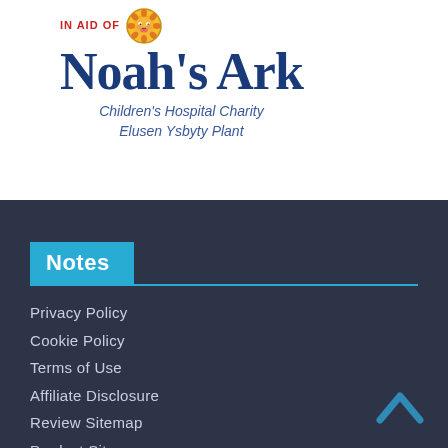[Figure (logo): Noah's Ark Children's Hospital Charity logo with lion mascot, 'In Aid of' text in red, 'Noah's Ark' in large dark blue handwritten font, subtitles 'Children's Hospital Charity' and 'Elusen Ysbyty Plant' in slate blue italic]
Notes
Privacy Policy
Cookie Policy
Terms of Use
Affiliate Disclosure
Review Sitemap
Product Sitemap
Country Sitemap